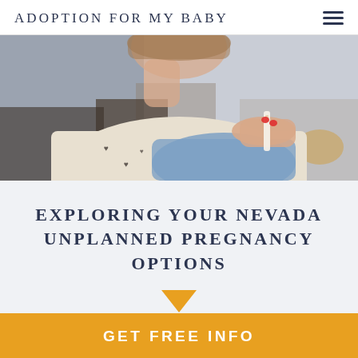ADOPTION FOR MY BABY
[Figure (photo): Woman in a cream heart-patterned sweater looking at a pregnancy test, blurred background]
EXPLORING YOUR NEVADA UNPLANNED PREGNANCY OPTIONS
[Figure (illustration): Orange/amber downward pointing triangle arrow]
GET FREE INFO